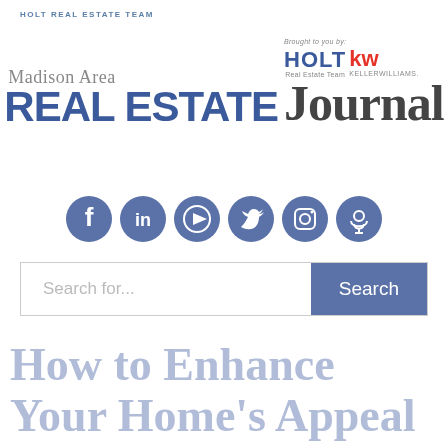HOLT REAL ESTATE TEAM
[Figure (logo): Madison Area Real Estate Journal logo with Holt Real Estate Team / Keller Williams branding]
[Figure (infographic): Six social media icons: Facebook, LinkedIn, YouTube, Twitter, Instagram, Podcast]
[Figure (screenshot): Search bar with placeholder 'Search for...' and a blue Search button]
How to Enhance Your Home's Appeal